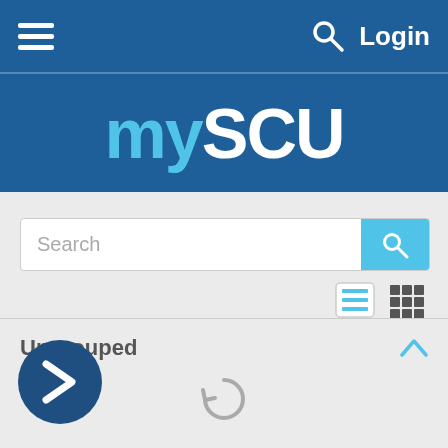≡  🔍 Login
[Figure (logo): mySCU logo — 'my' in light blue, 'SCU' in white, on dark blue background]
[Figure (screenshot): Search bar with text 'Search' and cyan search button, plus list/grid view toggle icons]
Ungrouped
[Figure (illustration): Dark blue circle with white right-pointing chevron arrow (next button)]
[Figure (illustration): Gray circular refresh/loading icon]